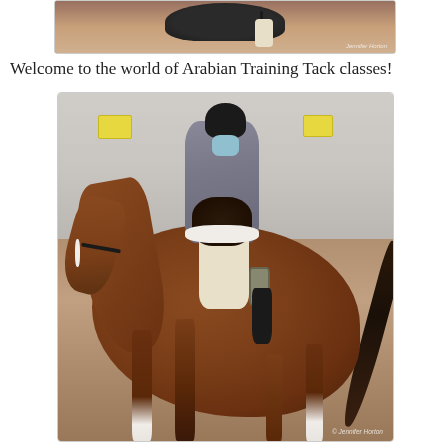[Figure (photo): Cropped top portion of a horse and rider photo showing close-up of saddle and riding equipment area]
Welcome to the world of Arabian Training Tack classes!
[Figure (photo): A rider in a gray show jacket, white breeches, and black helmet sitting atop a chestnut/bay Arabian horse in a show arena with dirt floor. The horse has a white blaze and white lower legs. Two yellow sponsor signs are visible on the arena wall in the background. Photo watermark reads Jennifer Horton.]